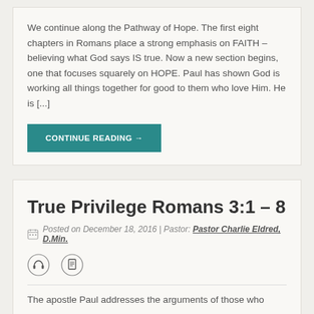We continue along the Pathway of Hope. The first eight chapters in Romans place a strong emphasis on FAITH – believing what God says IS true. Now a new section begins, one that focuses squarely on HOPE. Paul has shown God is working all things together for good to them who love Him. He is [...]
CONTINUE READING →
True Privilege Romans 3:1 – 8
Posted on December 18, 2016 | Pastor: Pastor Charlie Eldred, D.Min.
[Figure (illustration): Headphone and document icons]
The apostle Paul addresses the arguments of those who